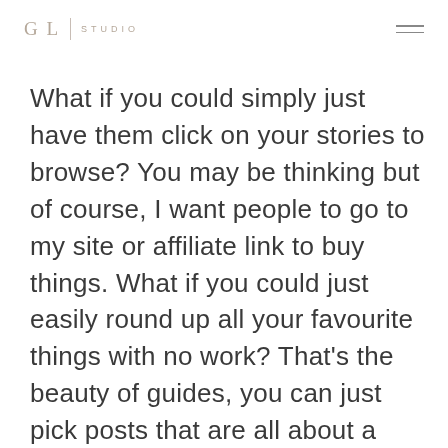GL | STUDIO
What if you could simply just have them click on your stories to browse? You may be thinking but of course, I want people to go to my site or affiliate link to buy things. What if you could just easily round up all your favourite things with no work? That's the beauty of guides, you can just pick posts that are all about a certain topic. It's using content you've already